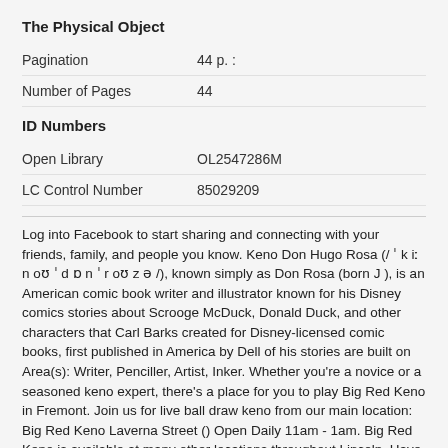The Physical Object
| Pagination | 44 p. : |
| Number of Pages | 44 |
ID Numbers
| Open Library | OL2547286M |
| LC Control Number | 85029209 |
Log into Facebook to start sharing and connecting with your friends, family, and people you know. Keno Don Hugo Rosa (/ ˈ k iː n oʊ ˈ d ɒ n ˈ r oʊ z ə /), known simply as Don Rosa (born J ), is an American comic book writer and illustrator known for his Disney comics stories about Scrooge McDuck, Donald Duck, and other characters that Carl Barks created for Disney-licensed comic books, first published in America by Dell of his stories are built on Area(s): Writer, Penciller, Artist, Inker. Whether you're a novice or a seasoned keno expert, there's a place for you to play Big Red Keno in Fremont. Join us for live ball draw keno from our main location: Big Red Keno Laverna Street () Open Daily 11am - 1am. Big Red Keno is available at many other locations throughout Lincoln. Have fun and win BIG at one of these.
Available In Books